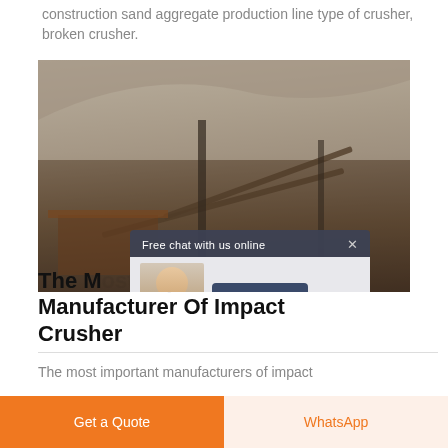construction sand aggregate production line type of crusher, broken crusher.
[Figure (photo): Quarry/mining site with conveyors and rock crushing equipment against a hillside backdrop, with an overlaid live chat popup featuring a customer service agent and 'CHAT NOW' button]
The Most Important Manufacturer Of Impact Crusher
The most important manufacturers of impact
Get a Quote
WhatsApp